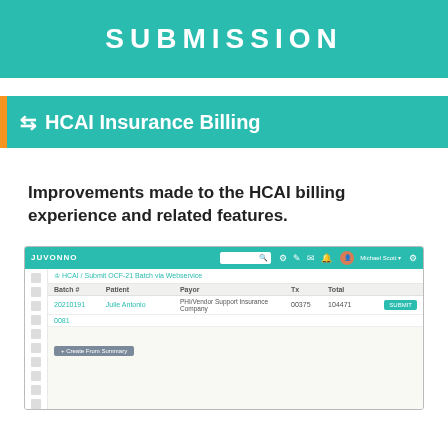SUBMISSION
HCAI Insurance Billing
Improvements made to the HCAI billing experience and related features.
[Figure (screenshot): Screenshot of HCAI / Submit OCF-21 Batch via Webservice page in Juvonno app, showing a batch submission table with columns: Batch #, Patient, Payor, Tx, Total. A row shows batch 20210191, Julie Antonio, PHI/Vendor Support Insurance Company, 00375, 104471 with a SUBMIT button. A second row shows 0081. Below is a Create From Summary button. Left sidebar shows navigation icons.]